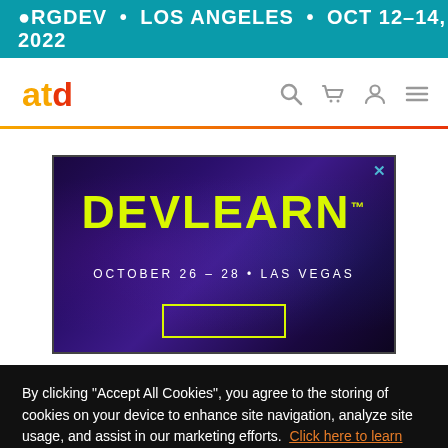●ORGDEV • LOS ANGELES • OCT 12–14, 2022
[Figure (logo): ATD logo in orange and red colors]
[Figure (screenshot): DEVLEARN advertisement banner: DEVLEARN October 26–28 • Las Vegas, purple background with yellow text]
By clicking "Accept All Cookies", you agree to the storing of cookies on your device to enhance site navigation, analyze site usage, and assist in our marketing efforts.  Click here to learn more about our cookie policy.
Accept Cookies